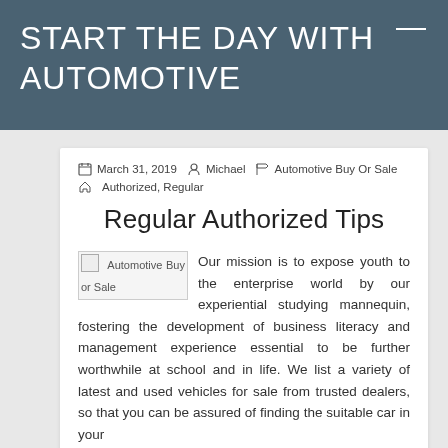START THE DAY WITH AUTOMOTIVE
March 31, 2019  Michael  Automotive Buy Or Sale  Authorized, Regular
Regular Authorized Tips
[Figure (photo): Broken image placeholder with alt text 'Automotive Buy or Sale']
Our mission is to expose youth to the enterprise world by our experiential studying mannequin, fostering the development of business literacy and management experience essential to be further worthwhile at school and in life. We list a variety of latest and used vehicles for sale from trusted dealers, so that you can be assured of finding the suitable car in your